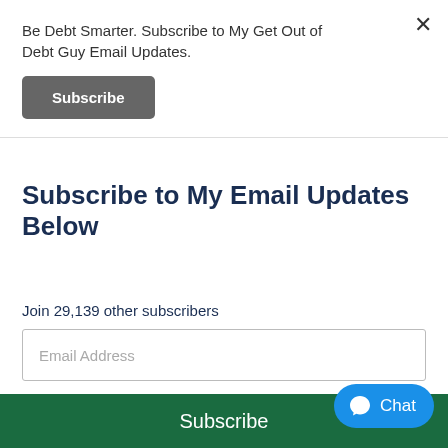Be Debt Smarter. Subscribe to My Get Out of Debt Guy Email Updates.
Subscribe
Subscribe to My Email Updates Below
Join 29,139 other subscribers
Email Address
Subscribe
Chat